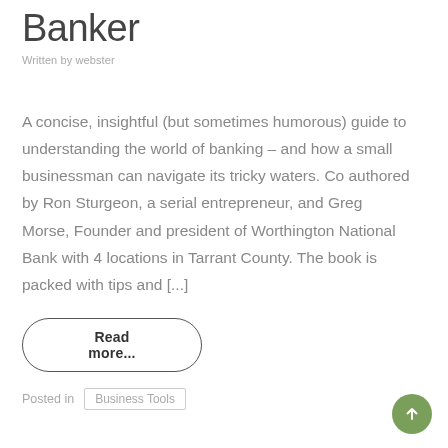Banker
Written by webster
A concise, insightful (but sometimes humorous) guide to understanding the world of banking – and how a small businessman can navigate its tricky waters. Co authored by Ron Sturgeon, a serial entrepreneur, and Greg Morse, Founder and president of Worthington National Bank with 4 locations in Tarrant County. The book is packed with tips and [...]
Read more...
Posted in Business Tools